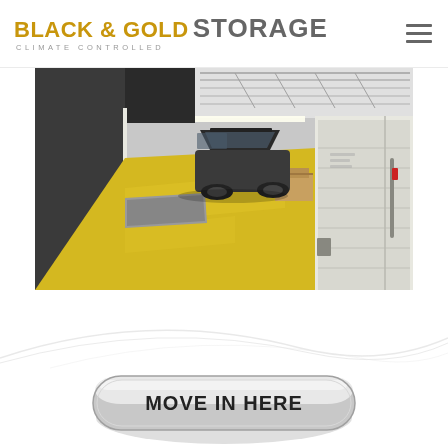BLACK & GOLD STORAGE — CLIMATE CONTROLLED
[Figure (photo): Interior of a climate-controlled storage facility with yellow epoxy floor, a black SUV parked inside, metal shelving and storage units along right wall, overhead lighting, wide open space.]
[Figure (illustration): A shiny silver/chrome rounded button or badge with the text MOVE IN HERE in bold black letters, set against a white background with a faint curved decorative swoosh.]